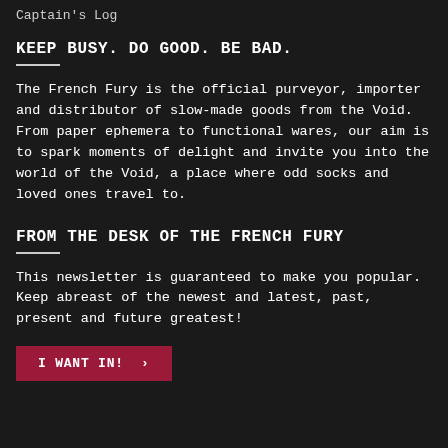Captain's Log
KEEP BUSY. DO GOOD. BE BAD.
The French Fury is the official purveyor, importer and distributor of slow-made goods from the Void. From paper ephemera to functional wares, our aim is to spark moments of delight and invite you into the world of the Void, a place where odd socks and loved ones travel to.
FROM THE DESK OF THE FRENCH FURY
This newsletter is guaranteed to make you popular. Keep abreast of the newest and latest, past, present and future greatest!
I WANT IN! >